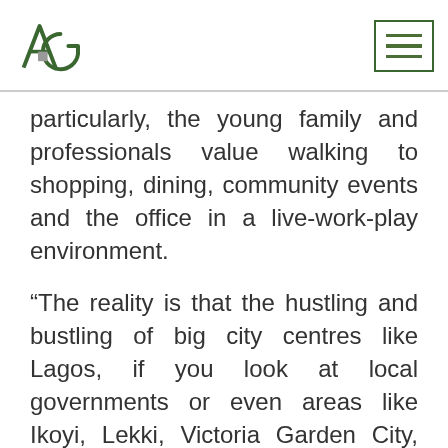AG logo and navigation menu
particularly, the young family and professionals value walking to shopping, dining, community events and the office in a live-work-play environment.
“The reality is that the hustling and bustling of big city centres like Lagos, if you look at local governments or even areas like Ikoyi, Lekki, Victoria Garden City, Ikeja and Alimosho, you have a huge population spread all